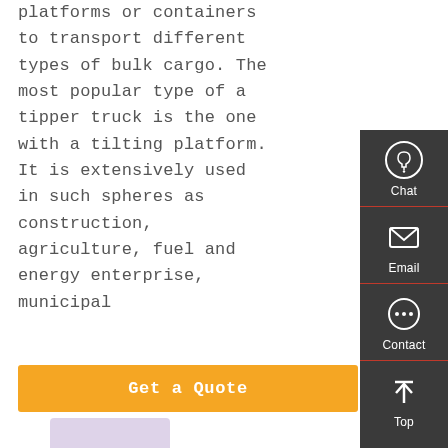platforms or containers to transport different types of bulk cargo. The most popular type of a tipper truck is the one with a tilting platform. It is extensively used in such spheres as construction, agriculture, fuel and energy enterprise, municipal
[Figure (other): Sidebar widget with Chat, Email, Contact, and Top navigation buttons on dark grey background]
Get a Quote